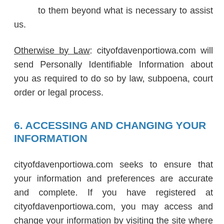to them beyond what is necessary to assist us.
Otherwise by Law: cityofdavenportiowa.com will send Personally Identifiable Information about you as required to do so by law, subpoena, court order or legal process.
6. ACCESSING AND CHANGING YOUR INFORMATION
cityofdavenportiowa.com seeks to ensure that your information and preferences are accurate and complete. If you have registered at cityofdavenportiowa.com, you may access and change your information by visiting the site where it was submitted. All e-mail communications from us, such as newsletters, tell you how to stop